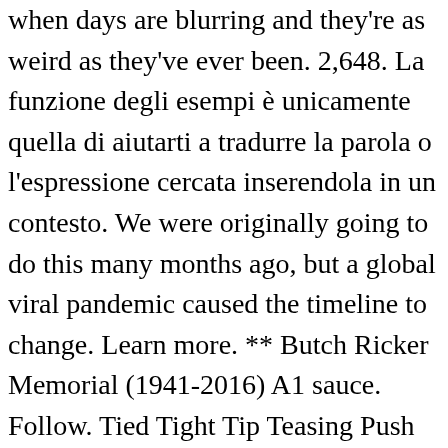when days are blurring and they're as weird as they've ever been. 2,648. La funzione degli esempi è unicamente quella di aiutarti a tradurre la parola o l'espressione cercata inserendola in un contesto. We were originally going to do this many months ago, but a global viral pandemic caused the timeline to change. Learn more. ** Butch Ricker Memorial (1941-2016) A1 sauce. Follow. Tied Tight Tip Teasing Push Pull Pressure Pleasing Beads of sweat drip down your neck Breathing deep, gaining speed, about to peak Trembling, trembling, trembling. Install. In base al termine